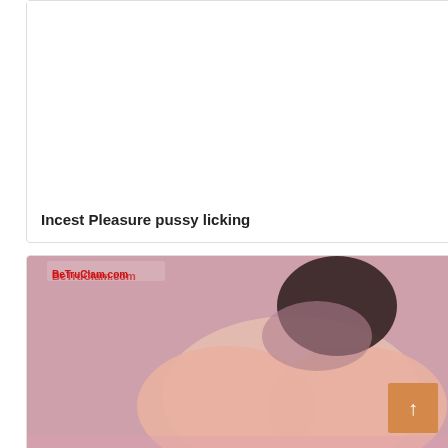[Figure (photo): Empty white card placeholder for first item]
Incest Pleasure pussy licking
[Figure (photo): Photo of a dark-haired woman with a red flower in hair, lying on pink fabric, with a watermark reading BeTruClam.com]
Pleasure island turning into a donkey scariest scene ever tanya.